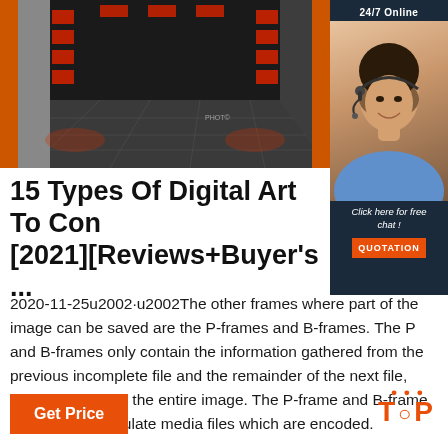[Figure (photo): Interior of an industrial spray booth / paint booth with red infrared heating lamps along the walls, tiled floor, and orange door frame on the left.]
[Figure (photo): Customer service representative woman with headset, smiling, overlaid on dark blue background with '24/7 Online' text above and 'Click here for free chat!' text with QUOTATION button below.]
15 Types Of Digital Art To Con [2021][Reviews+Buyer's ...
2020-11-25u2002·u2002The other frames where part of the image can be saved are the P-frames and B-frames. The P and B-frames only contain the information gathered from the previous incomplete file and the remainder of the next file, instead of storing the entire image. The P-frame and B-frame is used to manipulate media files which are encoded.
Get Price